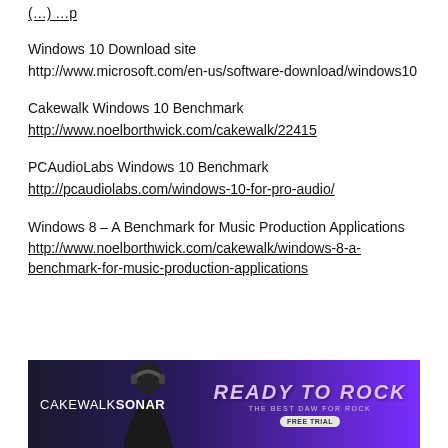(truncated top link — underlined)
Windows 10 Download site
http://www.microsoft.com/en-us/software-download/windows10
Cakewalk Windows 10 Benchmark
http://www.noelborthwick.com/cakewalk/22415
PCAudioLabs Windows 10 Benchmark
http://pcaudiolabs.com/windows-10-for-pro-audio/
Windows 8 – A Benchmark for Music Production Applications
http://www.noelborthwick.com/cakewalk/windows-8-a-benchmark-for-music-production-applications
[Figure (photo): Cakewalk SONAR advertisement banner showing a musician with headphones and text 'READY TO ROCK - THE BEST DAW FOR ROCK - FREE TRIAL']